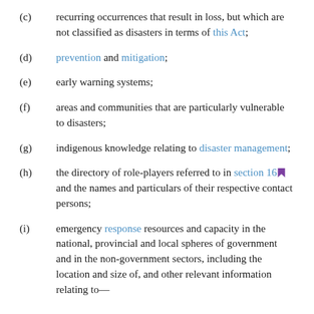(c) recurring occurrences that result in loss, but which are not classified as disasters in terms of this Act;
(d) prevention and mitigation;
(e) early warning systems;
(f) areas and communities that are particularly vulnerable to disasters;
(g) indigenous knowledge relating to disaster management;
(h) the directory of role-players referred to in section 16 and the names and particulars of their respective contact persons;
(i) emergency response resources and capacity in the national, provincial and local spheres of government and in the non-government sectors, including the location and size of, and other relevant information relating to—